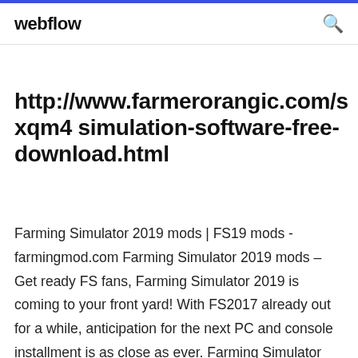webflow
http://www.farmerorangic.com/sxqm4 simulation-software-free-download.html
Farming Simulator 2019 mods | FS19 mods - farmingmod.com Farming Simulator 2019 mods – Get ready FS fans, Farming Simulator 2019 is coming to your front yard! With FS2017 already out for a while, anticipation for the next PC and console installment is as close as ever. Farming Simulator fanbase has lot of loyal fans that gather here in farmingmod.com and contribute to the community to make this website the